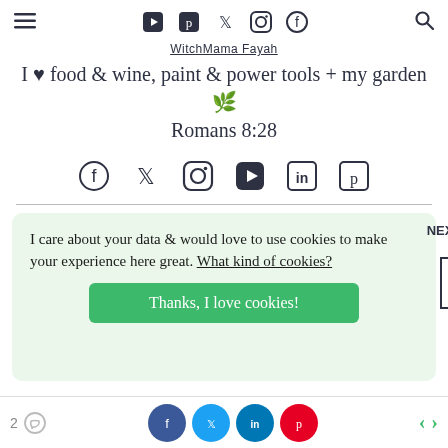Navigation bar with hamburger menu, social icons (YouTube, Pinterest, Twitter, Instagram, Facebook), and search icon
WitchMama Fayah
I ♥ food & wine, paint & power tools + my garden🌿
Romans 8:28
[Figure (infographic): Row of social media icons: Facebook, Twitter, Instagram, YouTube, LinkedIn, Pinterest]
I care about your data & would love to use cookies to make your experience here great. What kind of cookies?
Thanks, I love cookies!
2 comments, share buttons (Facebook, Twitter, LinkedIn, Pinterest), navigation arrows